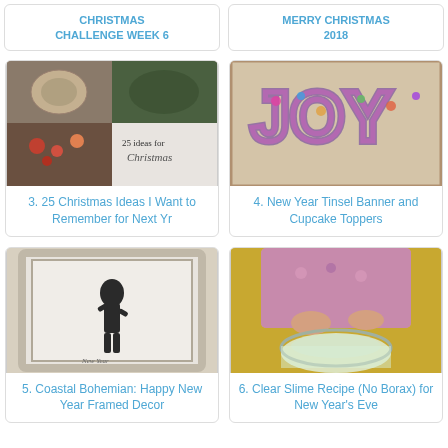CHRISTMAS CHALLENGE WEEK 6
MERRY CHRISTMAS 2018
[Figure (photo): Collage of Christmas craft ideas with paper ornaments, berries, and '25 Ideas for Christmas' text]
3. 25 Christmas Ideas I Want to Remember for Next Yr
[Figure (photo): New Year tinsel banner letters and cupcake toppers with colorful decorations]
4. New Year Tinsel Banner and Cupcake Toppers
[Figure (photo): Coastal Bohemian framed art with silhouette figure in white distressed frame]
5. Coastal Bohemian: Happy New Year Framed Decor
[Figure (photo): Child making clear slime in a glass bowl with gold background]
6. Clear Slime Recipe (No Borax) for New Year's Eve